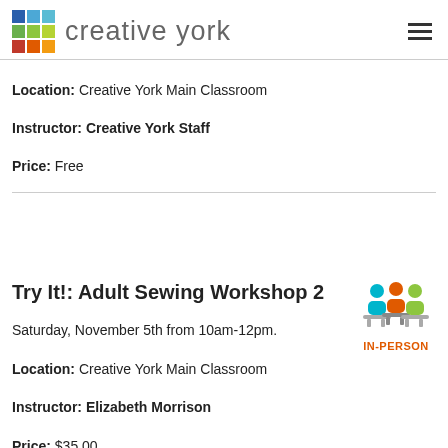creative york
Location: Creative York Main Classroom
Instructor: Creative York Staff
Price: Free
Try It!: Adult Sewing Workshop 2
[Figure (illustration): IN-PERSON badge with icon of three people seated at desks, colored in teal, orange, and green]
Saturday, November 5th from 10am-12pm.
Location: Creative York Main Classroom
Instructor: Elizabeth Morrison
Price: $35.00
Have you ever needed to replace a button on a shirt? Or hem a pair of pants that are just a little